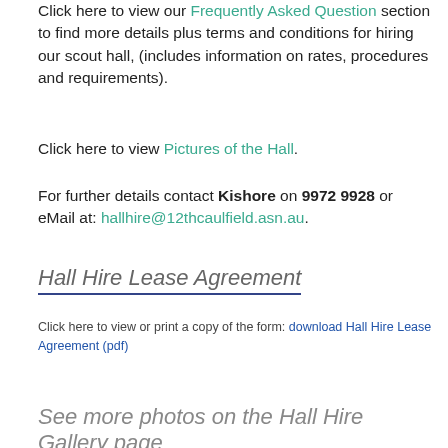Click here to view our Frequently Asked Question section to find more details plus terms and conditions for hiring our scout hall, (includes information on rates, procedures and requirements).
Click here to view Pictures of the Hall.
For further details contact Kishore on 9972 9928 or eMail at: hallhire@12thcaulfield.asn.au.
Hall Hire Lease Agreement
Click here to view or print a copy of the form: download Hall Hire Lease Agreement (pdf)
See more photos on the Hall Hire Gallery page